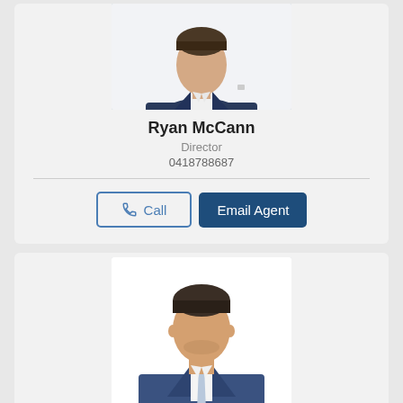[Figure (photo): Professional headshot of Ryan McCann in dark blue suit on white background]
Ryan McCann
Director
0418788687
[Figure (other): Call button with phone icon]
[Figure (other): Email Agent button]
[Figure (photo): Professional headshot of second agent in blue pinstripe suit with light blue tie on white background]